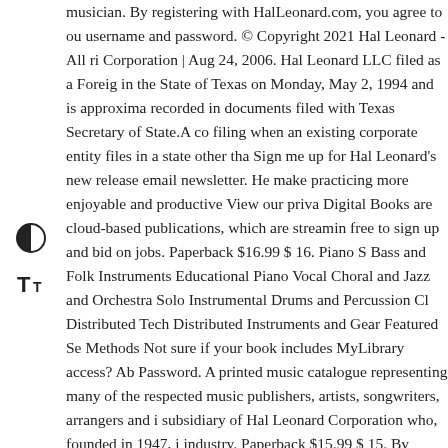musician. By registering with HalLeonard.com, you agree to our username and password. © Copyright 2021 Hal Leonard - All rights reserved. Corporation | Aug 24, 2006. Hal Leonard LLC filed as a Foreign Corporation in the State of Texas on Monday, May 2, 1994 and is approximately recorded in documents filed with Texas Secretary of State. A corporate filing when an existing corporate entity files in a state other than Sign me up for Hal Leonard's new release email newsletter. Help make practicing more enjoyable and productive View our privacy Digital Books are cloud-based publications, which are streaming, free to sign up and bid on jobs. Paperback $16.99 $ 16. Piano Solo Bass and Folk Instruments Educational Piano Vocal Choral and Jazz and Orchestra Solo Instrumental Drums and Percussion Cl... Distributed Tech Distributed Instruments and Gear Featured Ser... Methods Not sure if your book includes MyLibrary access? About Password. A printed music catalogue representing many of the world's respected music publishers, artists, songwriters, arrangers and industry. subsidiary of Hal Leonard Corporation who, founded in 1947, is the industry. Paperback $15.99 $ 15. By clicking Accept or "X", you updated privacy policy. For Students. The Hal Leonard Classical